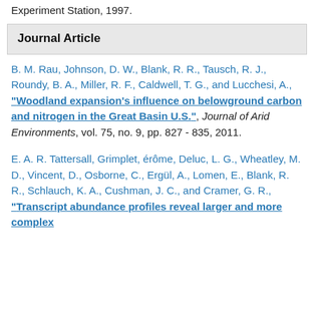Experiment Station, 1997.
Journal Article
B. M. Rau, Johnson, D. W., Blank, R. R., Tausch, R. J., Roundy, B. A., Miller, R. F., Caldwell, T. G., and Lucchesi, A., "Woodland expansion's influence on belowground carbon and nitrogen in the Great Basin U.S.", Journal of Arid Environments, vol. 75, no. 9, pp. 827 - 835, 2011.
E. A. R. Tattersall, Grimplet, érôme, Deluc, L. G., Wheatley, M. D., Vincent, D., Osborne, C., Ergül, A., Lomen, E., Blank, R. R., Schlauch, K. A., Cushman, J. C., and Cramer, G. R., "Transcript abundance profiles reveal larger and more complex